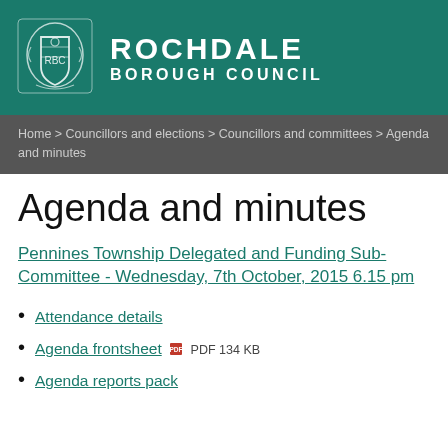ROCHDALE BOROUGH COUNCIL
Home > Councillors and elections > Councillors and committees > Agenda and minutes
Agenda and minutes
Pennines Township Delegated and Funding Sub-Committee - Wednesday, 7th October, 2015 6.15 pm
Attendance details
Agenda frontsheet PDF 134 KB
Agenda reports pack